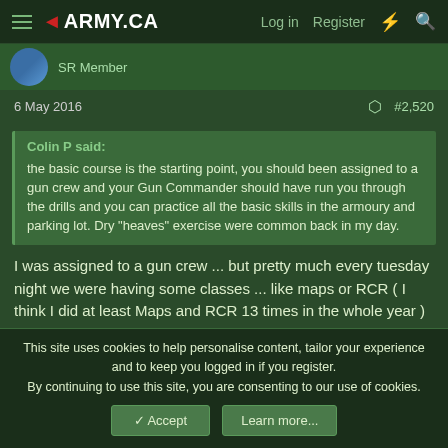◄ARMY.CA  Log in  Register
SR Member
6 May 2016  #2,520
Colin P said:
the basic course is the starting point, you should been assigned to a gun crew and your Gun Commander should have run you through the drills and you can practice all the basic skills in the armoury and parking lot. Dry "heaves" exercise were common back in my day.
I was assigned to a gun crew ... but pretty much every tuesday night we were having some classes ... like maps or RCR ( I think I did at least Maps and RCR 13 times in the whole year ) but gun drills were basically never ...
This site uses cookies to help personalise content, tailor your experience and to keep you logged in if you register.
By continuing to use this site, you are consenting to our use of cookies.
Accept  Learn more...